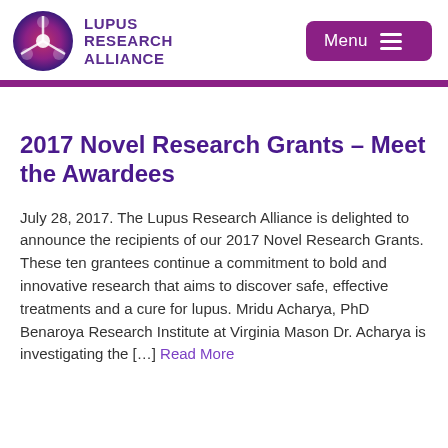[Figure (logo): Lupus Research Alliance logo with circular icon in red/purple gradient and text LUPUS RESEARCH ALLIANCE in bold purple]
2017 Novel Research Grants – Meet the Awardees
July 28, 2017. The Lupus Research Alliance is delighted to announce the recipients of our 2017 Novel Research Grants. These ten grantees continue a commitment to bold and innovative research that aims to discover safe, effective treatments and a cure for lupus. Mridu Acharya, PhD Benaroya Research Institute at Virginia Mason Dr. Acharya is investigating the […] Read More